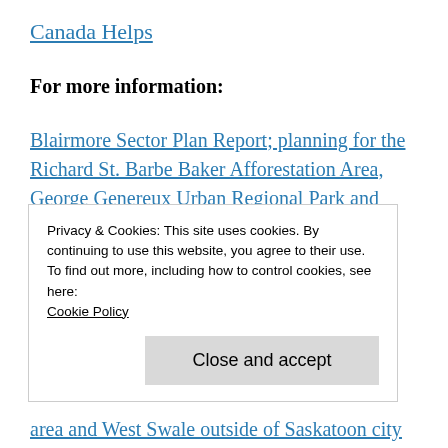Canada Helps
For more information:
Blairmore Sector Plan Report; planning for the Richard St. Barbe Baker Afforestation Area, George Genereux Urban Regional Park and West Swale and areas around them inside of Saskatoon city limits
P4G Saskatoon North Partnership for Growth
Privacy & Cookies: This site uses cookies. By continuing to use this website, you agree to their use.
To find out more, including how to control cookies, see here:
Cookie Policy
Close and accept
area and West Swale outside of Saskatoon city